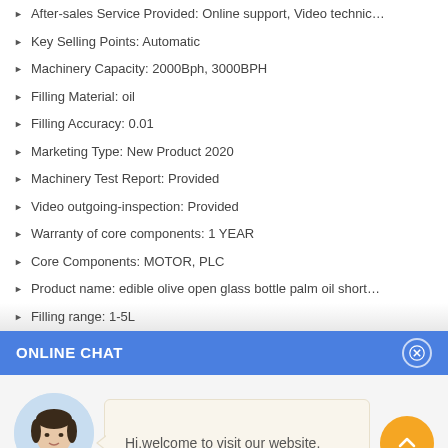After-sales Service Provided: Online support, Video technic…
Key Selling Points: Automatic
Machinery Capacity: 2000Bph, 3000BPH
Filling Material: oil
Filling Accuracy: 0.01
Marketing Type: New Product 2020
Machinery Test Report: Provided
Video outgoing-inspection: Provided
Warranty of core components: 1 YEAR
Core Components: MOTOR, PLC
Product name: edible olive open glass bottle palm oil short…
Filling range: 1-5L
ONLINE CHAT
[Figure (other): Online chat widget with avatar of a woman named Cilina and a welcome message bubble saying 'Hi, welcome to visit our website.' with an orange scroll-up button.]
Hi,welcome to visit our website.
Cilina